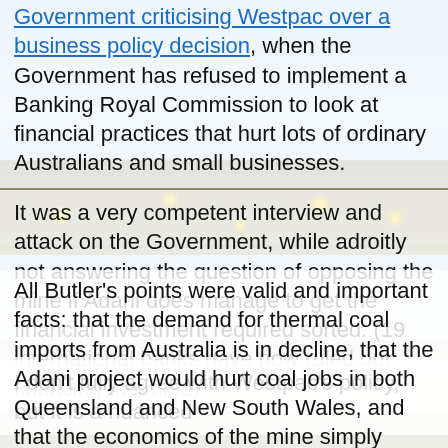Government criticising Westpac over a business policy decision, when the Government has refused to implement a Banking Royal Commission to look at financial practices that hurt lots of ordinary Australians and small businesses.
It was a very competent interview and attack on the Government, while adroitly not answering the question of opposing the mine if Adani does manage to get the financial investment required sorted. (19 international banks have now ruled out financing the mine)
All Butler's points were valid and important facts: that the demand for thermal coal imports from Australia is in decline, that the Adani project would hurt coal jobs in both Queensland and New South Wales, and that the economics of the mine simply don't stack up.
Then there is the climate risk which Butler did not emphasise but is at the heart of Westpac Bank's business climate policy and future investments in coal.
I don't fully agree with Westpac's policy, but it is a nuanced...